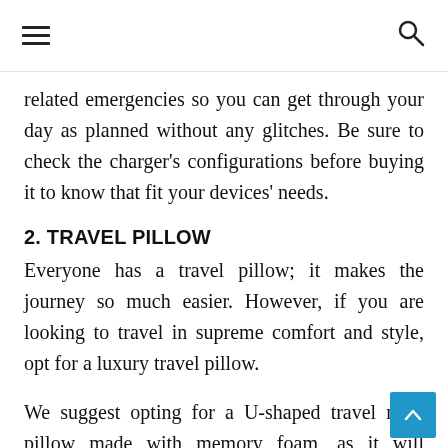[hamburger menu icon] [search icon]
related emergencies so you can get through your day as planned without any glitches. Be sure to check the charger's configurations before buying it to know that fit your devices' needs.
2. TRAVEL PILLOW
Everyone has a travel pillow; it makes the journey so much easier. However, if you are looking to travel in supreme comfort and style, opt for a luxury travel pillow.
We suggest opting for a U-shaped travel neck pillow made with memory foam, as it will provide the best support to your head and neck during long com... hours. A pillow with changeable and washable covers